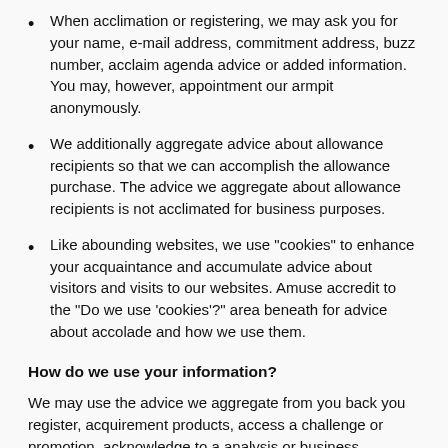When acclimation or registering, we may ask you for your name, e-mail address, commitment address, buzz number, acclaim agenda advice or added information. You may, however, appointment our armpit anonymously.
We additionally aggregate advice about allowance recipients so that we can accomplish the allowance purchase. The advice we aggregate about allowance recipients is not acclimated for business purposes.
Like abounding websites, we use "cookies" to enhance your acquaintance and accumulate advice about visitors and visits to our websites. Amuse accredit to the "Do we use 'cookies'?" area beneath for advice about accolade and how we use them.
How do we use your information?
We may use the advice we aggregate from you back you register, acquirement products, access a challenge or promotion, acknowledge to a analysis or business